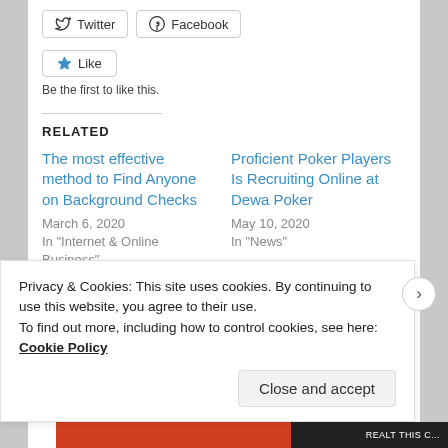[Figure (screenshot): Twitter and Facebook social share buttons]
[Figure (screenshot): Like button with star icon and 'Be the first to like this.' text]
Be the first to like this.
RELATED
The most effective method to Find Anyone on Background Checks
March 6, 2020
In "Internet & Online Business"
Proficient Poker Players Is Recruiting Online at Dewa Poker
May 10, 2020
In "News"
Privacy & Cookies: This site uses cookies. By continuing to use this website, you agree to their use.
To find out more, including how to control cookies, see here: Cookie Policy
Close and accept